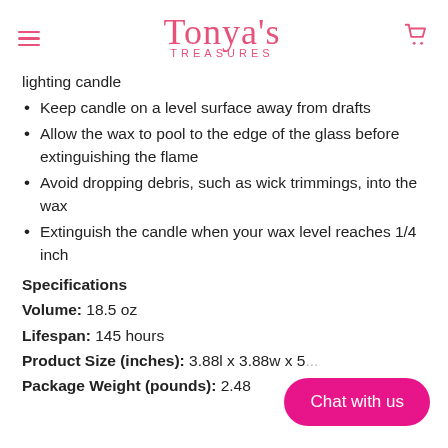Tonya's Treasures
lighting candle
Keep candle on a level surface away from drafts
Allow the wax to pool to the edge of the glass before extinguishing the flame
Avoid dropping debris, such as wick trimmings, into the wax
Extinguish the candle when your wax level reaches 1/4 inch
Specifications
Volume: 18.5 oz
Lifespan: 145 hours
Product Size (inches): 3.88l x 3.88w x 5...
Package Weight (pounds): 2.48